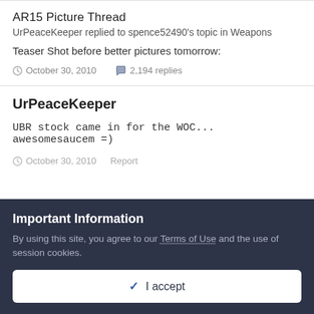AR15 Picture Thread
UrPeaceKeeper replied to spence52490's topic in Weapons
Teaser Shot before better pictures tomorrow:
October 30, 2010  2,194 replies
UrPeaceKeeper
UBR stock came in for the WOC... awesomesaucem =)
October 30, 2010  Report
Important Information
By using this site, you agree to our Terms of Use and the use of session cookies.
✔ I accept